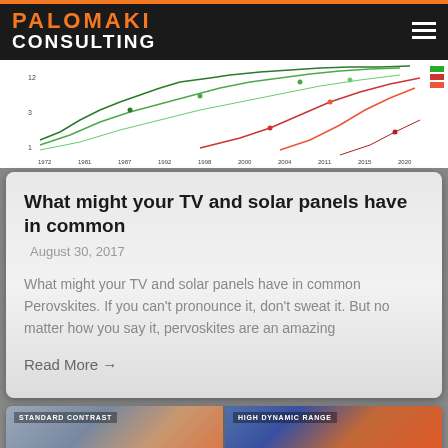PALOMAKI CONSULTING
[Figure (continuous-plot): Line chart showing solar panel efficiency trends over time from approximately 1972 to 2020, with multiple colored lines (green and red) representing different technologies]
What might your TV and solar panels have in common
August 30, 2017
What might your TV and solar panels have in common Perovskites. If you can't pronounce it, don't sweat it. But no matter how you say it, pervoskites are an amazing
Read More →
[Figure (photo): Side-by-side comparison image showing STANDARD CONTRAST on left and HIGH DYNAMIC RANGE on right, both showing a sky/sunset scene]